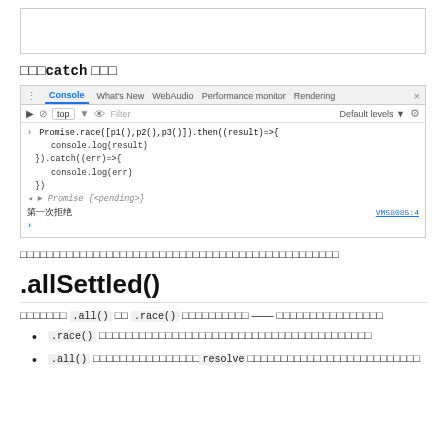[Figure (screenshot): Top portion of a browser devtools screenshot (partially visible, cropped at top)]
□□□catch □□□
[Figure (screenshot): Chrome DevTools Console screenshot showing Promise.race([p1(),p2(),p3()]).then((result)=>{ console.log(result) }).catch((err)=>{ console.log(err) }) with output: Promise {<pending>}, 第一次拒绝, VM58085:4]
□□□□□□□□□□□□□□□□□□□□□□□□□□□□□□□□□□□□□□□□□□□□
.allSettled()
□□□□□□□ .all() □□ .race() □□□□□□□□□□ —— □□□□□□□□□□□□□□□□
.race() □□□□□□□□□□□□□□□□□□□□□□□□□□□□□□□□□□□□□□□□
.all() □□□□□□□□□□□□□□□□resolve□□□□□□□□□□□□□□□□□□□□□□□□□□